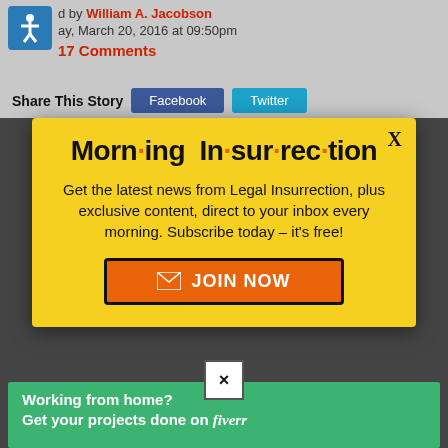d by William A. Jacobson — ay, March 20, 2016 at 09:50pm
17 Comments
Share This Story  Facebook  Twitter
[Figure (screenshot): Morning Insurrection newsletter signup modal popup over a dark background. Yellow background popup with title 'Morn·ing In·sur·rec·tion', body text 'Get the latest news from Legal Insurrection, plus exclusive content, direct to your inbox every morning. Subscribe today – it's free!', and an orange JOIN NOW button. Below the popup is a small X close button and a Fiverr advertisement banner.]
Working from home? Get your projects done on fiverr